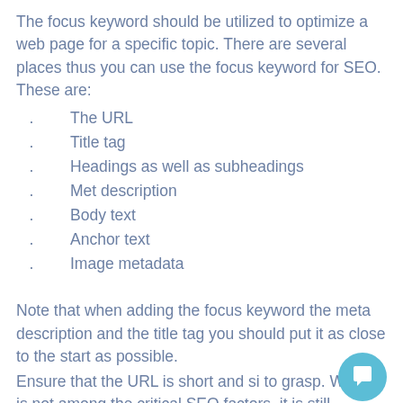The focus keyword should be utilized to optimize a web page for a specific topic. There are several places thus you can use the focus keyword for SEO. These are:
The URL
Title tag
Headings as well as subheadings
Met description
Body text
Anchor text
Image metadata
Note that when adding the focus keyword the meta description and the title tag you should put it as close to the start as possible.
Ensure that the URL is short and si to grasp. While it is not among the critical SEO factors, it is still important.